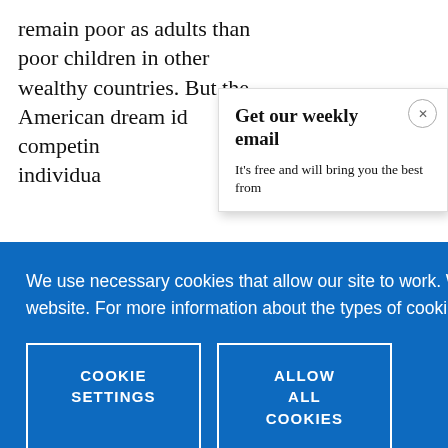remain poor as adults than poor children in other wealthy countries. But the American dream id competing individua
[Figure (screenshot): Popup modal with title 'Get our weekly email' and subtitle 'It’s free and will bring you the best from' with a close button (x)]
We use necessary cookies that allow our site to work. We also set optional cookies that help us improve our website. For more information about the types of cookies we use. READ OUR COOKIES POLICY HERE
COOKIE SETTINGS
ALLOW ALL COOKIES
data.
and in its